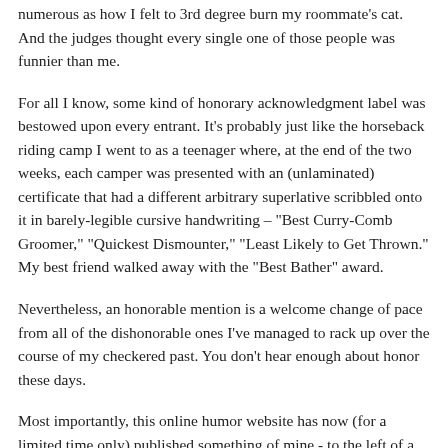numerous as how I felt to 3rd degree burn my roommate's cat. And the judges thought every single one of those people was funnier than me.
For all I know, some kind of honorary acknowledgment label was bestowed upon every entrant. It's probably just like the horseback riding camp I went to as a teenager where, at the end of the two weeks, each camper was presented with an (unlaminated) certificate that had a different arbitrary superlative scribbled onto it in barely-legible cursive handwriting – "Best Curry-Comb Groomer," "Quickest Dismounter," "Least Likely to Get Thrown." My best friend walked away with the "Best Bather" award.
Nevertheless, an honorable mention is a welcome change of pace from all of the dishonorable ones I've managed to rack up over the course of my checkered past. You don't hear enough about honor these days.
Most importantly, this online humor website has now (for a limited time only) published something of mine - to the left of a blue, "Honorable Mention" cyber-ribbon - so I can add this clip to my published writing portfolio (I think). Most creative